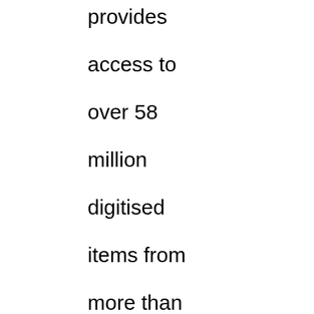provides access to over 58 million digitised items from more than 3500 European libraries, museums, archives and galleries. The Europeana DSI-4 project continues